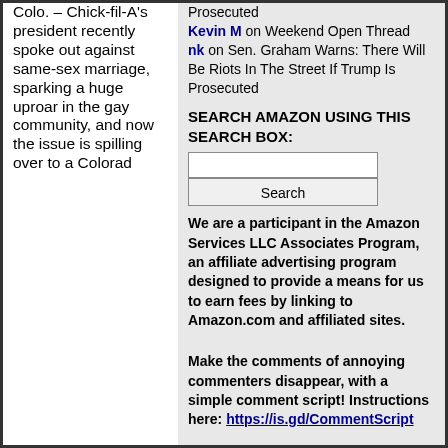Colo. – Chick-fil-A's president recently spoke out against same-sex marriage, sparking a huge uproar in the gay community, and now the issue is spilling over to a Colorad
Prosecuted
Kevin M on Weekend Open Thread
nk on Sen. Graham Warns: There Will Be Riots In The Street If Trump Is Prosecuted
SEARCH AMAZON USING THIS SEARCH BOX:
We are a participant in the Amazon Services LLC Associates Program, an affiliate advertising program designed to provide a means for us to earn fees by linking to Amazon.com and affiliated sites.
Make the comments of annoying commenters disappear, with a simple comment script! Instructions here: https://is.gd/CommentScript